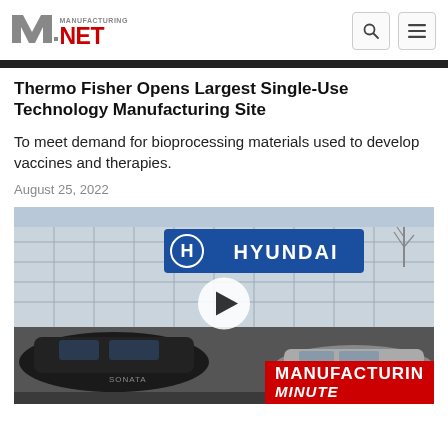Manufacturing.net
Thermo Fisher Opens Largest Single-Use Technology Manufacturing Site
To meet demand for bioprocessing materials used to develop vaccines and therapies.
August 25, 2022
[Figure (photo): Hyundai dealership building exterior with a Hyundai logo sign, black Hyundai cars in the foreground, with a video play button overlay and 'Manufacturing Minute' banner in the bottom right]